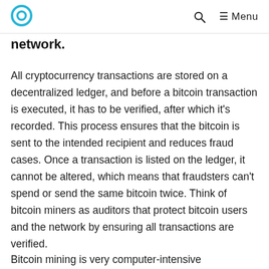Menu
network.
All cryptocurrency transactions are stored on a decentralized ledger, and before a bitcoin transaction is executed, it has to be verified, after which it's recorded. This process ensures that the bitcoin is sent to the intended recipient and reduces fraud cases. Once a transaction is listed on the ledger, it cannot be altered, which means that fraudsters can't spend or send the same bitcoin twice. Think of bitcoin miners as auditors that protect bitcoin users and the network by ensuring all transactions are verified.
Bitcoin mining is very computer-intensive